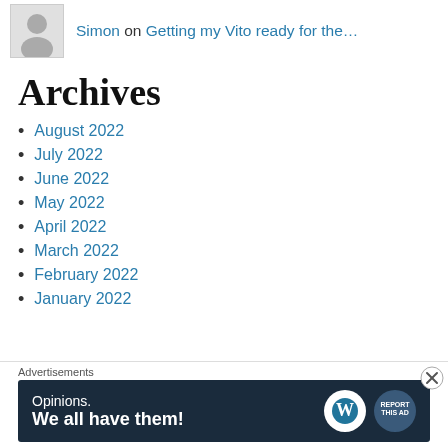[Figure (illustration): User avatar placeholder icon (grey silhouette on light background) for a comment entry]
Simon on Getting my Vito ready for the…
Archives
August 2022
July 2022
June 2022
May 2022
April 2022
March 2022
February 2022
January 2022
Advertisements
[Figure (illustration): WordPress advertisement banner: dark navy background with 'Opinions. We all have them!' text alongside WordPress logo and a round badge icon]